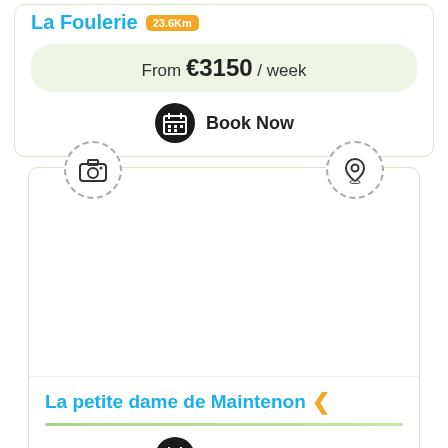La Foulerie 23.6Km
From €3150 / week
Book Now
[Figure (illustration): Camera icon inside dashed circle]
[Figure (illustration): Map pin / location icon inside dashed circle]
La petite dame de Maintenon
Book Now